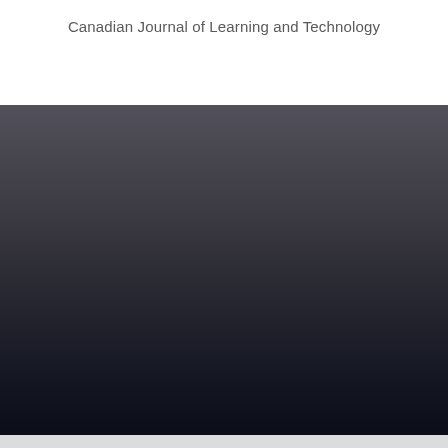Canadian Journal of Learning and Technology
[Figure (photo): Dark gradient background image transitioning from dark gray at the top to very dark navy blue at the bottom, taking up approximately the lower two-thirds of the page.]